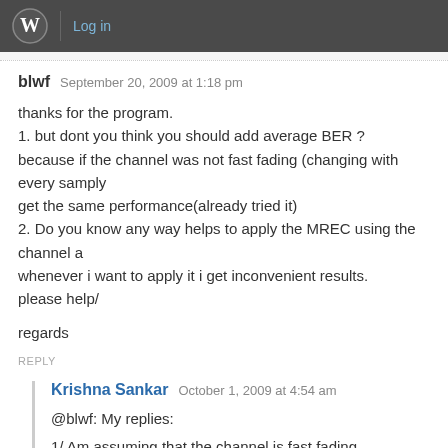Log in
blwf   September 20, 2009 at 1:18 pm
thanks for the program.
1. but dont you think you should add average BER ?
because if the channel was not fast fading (changing with every samply get the same performance(already tried it)
2. Do you know any way helps to apply the MREC using the channel a whenever i want to apply it i get inconvenient results.
please help/

regards
REPLY
Krishna Sankar   October 1, 2009 at 4:54 am
@blwf: My replies:
1/ Am assuming that the channel is fast fading
2/ What is MREC ?